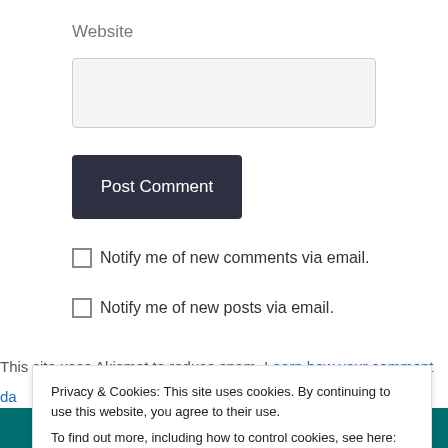Website
[Figure (screenshot): Text input field for website URL]
[Figure (screenshot): Post Comment button, dark navy background, white text]
Notify me of new comments via email.
Notify me of new posts via email.
This site uses Akismet to reduce spam. Learn how your comment
da
Privacy & Cookies: This site uses cookies. By continuing to use this website, you agree to their use.
To find out more, including how to control cookies, see here: Cookie Policy
Close and accept